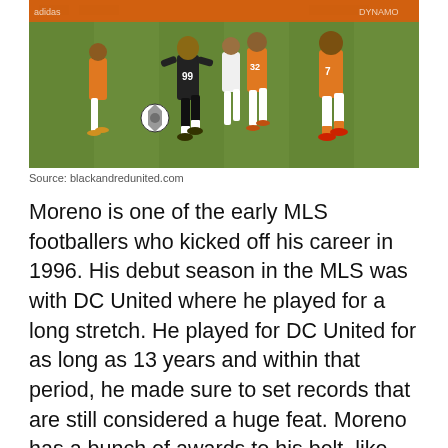[Figure (photo): Soccer match photo showing players in action on a grass field. A player in black jersey number 99 dribbles the ball while orange-uniformed players from Houston Dynamo pursue. Another player in white jersey number 32 is visible in the background.]
Source: blackandredunited.com
Moreno is one of the early MLS footballers who kicked off his career in 1996. His debut season in the MLS was with DC United where he played for a long stretch. He played for DC United for as long as 13 years and within that period, he made sure to set records that are still considered a huge feat. Moreno has a bunch of awards to his belt, like the MLS cup winner, MLS Best XI, and a bunch of others.